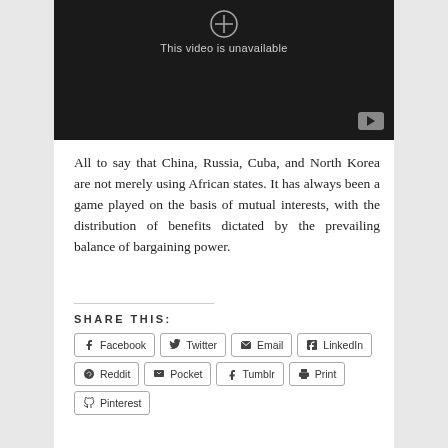[Figure (screenshot): YouTube video player showing 'This video is unavailable' message on a dark background with YouTube button in bottom right corner]
All to say that China, Russia, Cuba, and North Korea are not merely using African states. It has always been a game played on the basis of mutual interests, with the distribution of benefits dictated by the prevailing balance of bargaining power.
SHARE THIS:
Facebook Twitter Email LinkedIn Reddit Pocket Tumblr Print Pinterest